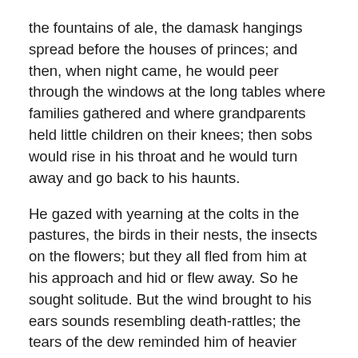the fountains of ale, the damask hangings spread before the houses of princes; and then, when night came, he would peer through the windows at the long tables where families gathered and where grandparents held little children on their knees; then sobs would rise in his throat and he would turn away and go back to his haunts.
He gazed with yearning at the colts in the pastures, the birds in their nests, the insects on the flowers; but they all fled from him at his approach and hid or flew away. So he sought solitude. But the wind brought to his ears sounds resembling death-rattles; the tears of the dew reminded him of heavier drops, and every evening, the sun would spread blood in the sky, and every night, in his dreams, he lived over his parricide.
He made himself a hair-cloth lined with iron spikes. On his knees, he ascended every hill that was crowned with a